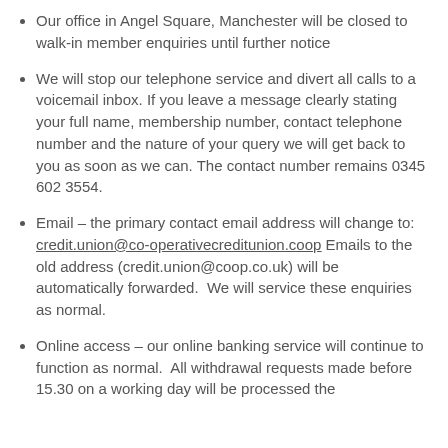Our office in Angel Square, Manchester will be closed to walk-in member enquiries until further notice
We will stop our telephone service and divert all calls to a voicemail inbox. If you leave a message clearly stating your full name, membership number, contact telephone number and the nature of your query we will get back to you as soon as we can. The contact number remains 0345 602 3554.
Email – the primary contact email address will change to: credit.union@co-operativecreditunion.coop Emails to the old address (credit.union@coop.co.uk) will be automatically forwarded.  We will service these enquiries as normal.
Online access – our online banking service will continue to function as normal.  All withdrawal requests made before 15.30 on a working day will be processed the